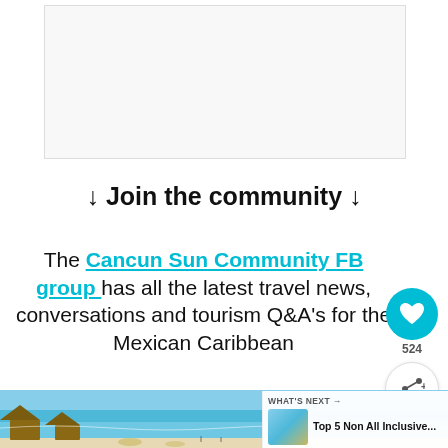[Figure (other): Advertisement placeholder box (light gray background with border)]
↓ Join the community ↓
The Cancun Sun Community FB group has all the latest travel news, conversations and tourism Q&A's for the Mexican Caribbean
[Figure (other): Heart/like button (cyan circle with heart icon) with count 524, and share button below]
[Figure (photo): Beach scene showing Cancun with turquoise water, white sand, beach umbrellas and palm thatched palapas]
WHAT'S NEXT → Top 5 Non All Inclusive...